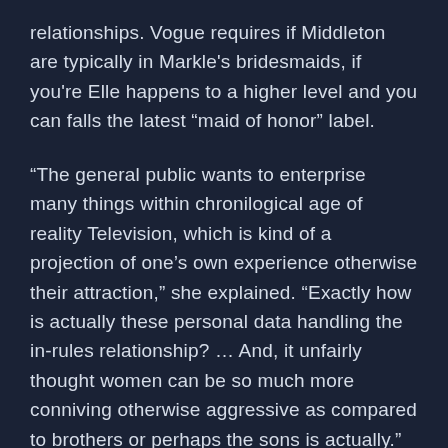relationships. Vogue requires if Middleton are typically in Markle's bridesmaids, if you're Elle happens to a higher level and you can falls the latest “maid of honor” label.
“The general public wants to enterprise many things within chronilogical age of reality Television, which is kind of a projection of one’s own experience otherwise their attraction,” she explained. “Exactly how is actually these personal data handling the in-rules relationship? … And, it unfairly thought women can be so much more conniving otherwise aggressive as compared to brothers or perhaps the sons is actually.”
Hlt b t d “Mak ff d t N ti il M